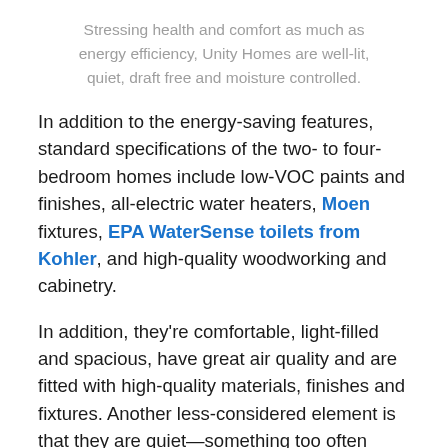Stressing health and comfort as much as energy efficiency, Unity Homes are well-lit, quiet, draft free and moisture controlled.
In addition to the energy-saving features, standard specifications of the two- to four-bedroom homes include low-VOC paints and finishes, all-electric water heaters, Moen fixtures, EPA WaterSense toilets from Kohler, and high-quality woodworking and cabinetry.
In addition, they're comfortable, light-filled and spacious, have great air quality and are fitted with high-quality materials, finishes and fixtures. Another less-considered element is that they are quiet—something too often missing in our homes. Silence is a feature increasingly accepted as vital to health and emotional well-being; and with doors and windows closed there are no traffic sounds